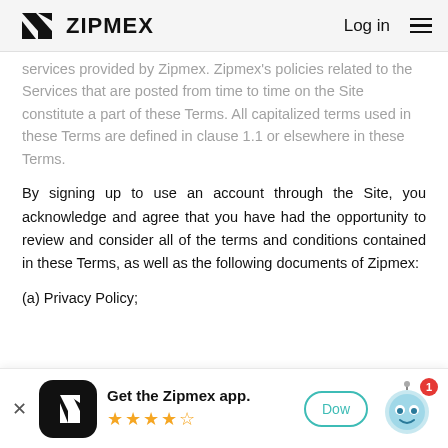ZIPMEX | Log in
services provided by Zipmex. Zipmex's policies related to the Services that are posted from time to time on the Site constitute a part of these Terms.  All capitalized terms used in these Terms are defined in clause 1.1 or elsewhere in these Terms.
By signing up to use an account through the Site, you acknowledge and agree that you have had the opportunity to review and consider all of the terms and conditions contained in these Terms, as well as the following documents of Zipmex:
(a) Privacy Policy;
[Figure (other): App download banner: Zipmex app icon (black rounded square with lightning bolt), text 'Get the Zipmex app.', 4.5 star rating, Download button, robot mascot with notification badge showing 1]